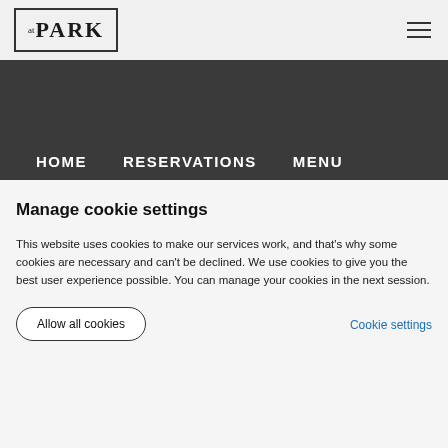[Figure (logo): atPARK logo in a rectangular border — small superscript 'at' followed by large bold serif 'PARK']
[Figure (other): Hamburger menu icon (three horizontal lines)]
HOME   RESERVATIONS   MENU
Manage cookie settings
This website uses cookies to make our services work, and that's why some cookies are necessary and can't be declined. We use cookies to give you the best user experience possible. You can manage your cookies in the next session.
Allow all cookies
Cookie settings